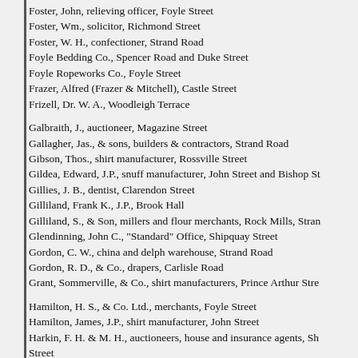Foster, John, relieving officer, Foyle Street
Foster, Wm., solicitor, Richmond Street
Foster, W. H., confectioner, Strand Road
Foyle Bedding Co., Spencer Road and Duke Street
Foyle Ropeworks Co., Foyle Street
Frazer, Alfred (Frazer & Mitchell), Castle Street
Frizell, Dr. W. A., Woodleigh Terrace
Galbraith, J., auctioneer, Magazine Street
Gallagher, Jas., & sons, builders & contractors, Strand Road
Gibson, Thos., shirt manufacturer, Rossville Street
Gildea, Edward, J.P., snuff manufacturer, John Street and Bishop St
Gillies, J. B., dentist, Clarendon Street
Gilliland, Frank K., J.P., Brook Hall
Gilliland, S., & Son, millers and flour merchants, Rock Mills, Stran
Glendinning, John C., "Standard" Office, Shipquay Street
Gordon, C. W., china and delph warehouse, Strand Road
Gordon, R. D., & Co., drapers, Carlisle Road
Grant, Sommerville, & Co., shirt manufacturers, Prince Arthur Stre
Hamilton, H. S., & Co. Ltd., merchants, Foyle Street
Hamilton, James, J.P., shirt manufacturer, John Street
Harkin, F. H. & M. H., auctioneers, house and insurance agents, Sh Street
Harkin, J. A., grocer, Castle Gate Buildings